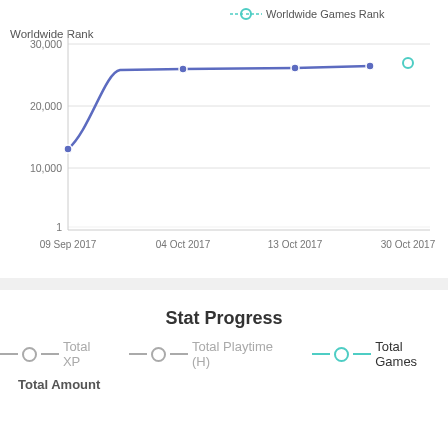[Figure (line-chart): Worldwide Games Rank]
Stat Progress
Total XP   Total Playtime (H)   Total Games
Total Amount